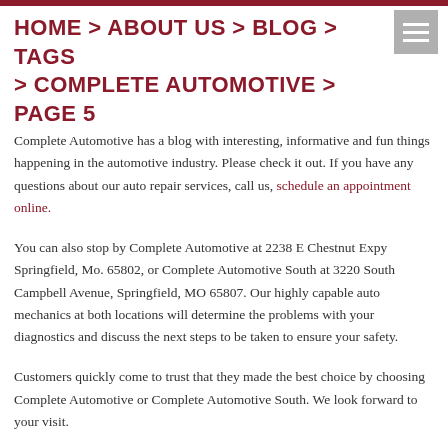HOME > ABOUT US > BLOG > TAGS > COMPLETE AUTOMOTIVE > PAGE 5
Complete Automotive has a blog with interesting, informative and fun things happening in the automotive industry. Please check it out. If you have any questions about our auto repair services, call us, schedule an appointment online.
You can also stop by Complete Automotive at 2238 E Chestnut Expy Springfield, Mo. 65802, or Complete Automotive South at 3220 South Campbell Avenue, Springfield, MO 65807. Our highly capable auto mechanics at both locations will determine the problems with your diagnostics and discuss the next steps to be taken to ensure your safety.
Customers quickly come to trust that they made the best choice by choosing Complete Automotive or Complete Automotive South. We look forward to your visit.